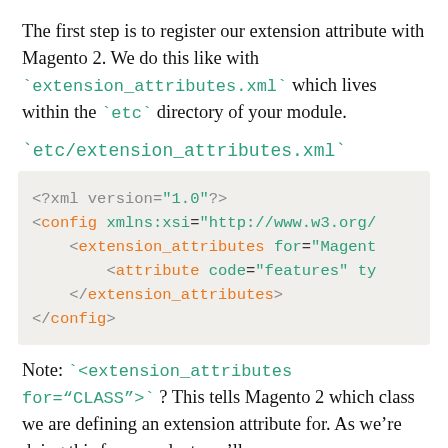The first step is to register our extension attribute with Magento 2. We do this like with `extension_attributes.xml` which lives within the `etc` directory of your module.
`etc/extension_attributes.xml`
[Figure (screenshot): Code block showing XML content: <?xml version="1.0"?> <config xmlns:xsi="http://www.w3.org/... <extension_attributes for="Magent... <attribute code="features" ty... </extension_attributes> </config>]
Note: `<extension_attributes for="CLASS">` ? This tells Magento 2 which class we are defining an extension attribute for. As we're doing this for a product, we'll